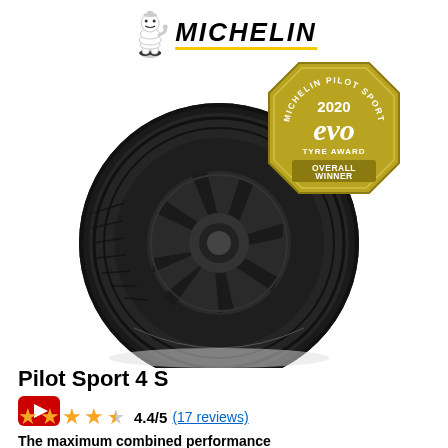[Figure (logo): Michelin logo with Bibendum mascot and yellow underline]
[Figure (photo): Michelin Pilot Sport 4S tire on a dark alloy wheel with 2020 evo Tyre Award Overall Winner badge]
Pilot Sport 4 S
[Figure (other): YouTube play button icon (red rounded rectangle)]
4.4/5 (17 reviews)
The maximum combined performance